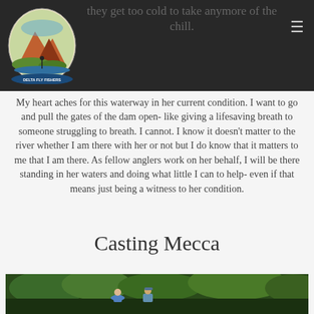they get too cold to take anymore of the chill.
My heart aches for this waterway in her current condition. I want to go and pull the gates of the dam open- like giving a lifesaving breath to someone struggling to breath. I cannot. I know it doesn't matter to the river whether I am there with her or not but I do know that it matters to me that I am there. As fellow anglers work on her behalf, I will be there standing in her waters and doing what little I can to help- even if that means just being a witness to her condition.
Casting Mecca
[Figure (photo): Two people outdoors near a river, surrounded by green trees]